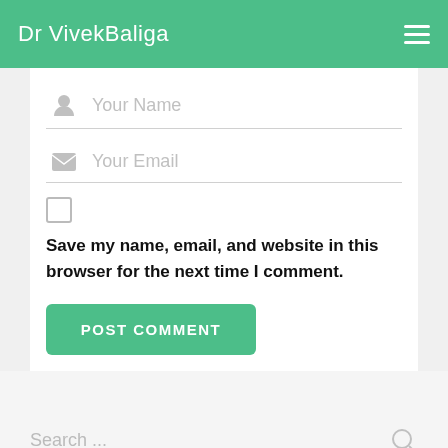Dr VivekBaliga
[Figure (screenshot): Web form with Your Name input field with user icon]
[Figure (screenshot): Web form with Your Email input field with envelope icon]
Save my name, email, and website in this browser for the next time I comment.
POST COMMENT
Search ...